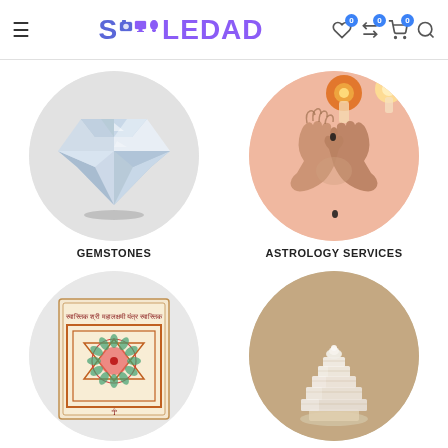SOLEDAD - Navigation header with logo, wishlist, compare, cart, and search icons
[Figure (photo): Circle image of a diamond gemstone on light gray background with label GEMSTONES below]
[Figure (photo): Circle image of two hands in prayer/cupped position on peach/orange background with candles, label ASTROLOGY SERVICES below]
[Figure (photo): Circle image of Sri Mahalaxmi Yantra (geometric sacred diagram) on light gray background]
[Figure (photo): Circle image of a crystal Shree Yantra figurine on brownish background]